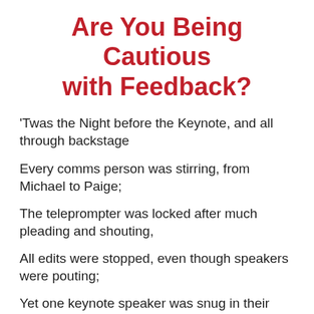Are You Being Cautious with Feedback?
'Twas the Night before the Keynote, and all through backstage
Every comms person was stirring, from Michael to Paige;
The teleprompter was locked after much pleading and shouting,
All edits were stopped, even though speakers were pouting;
Yet one keynote speaker was snug in their bed,
As their vision for the storyline played out in their head;